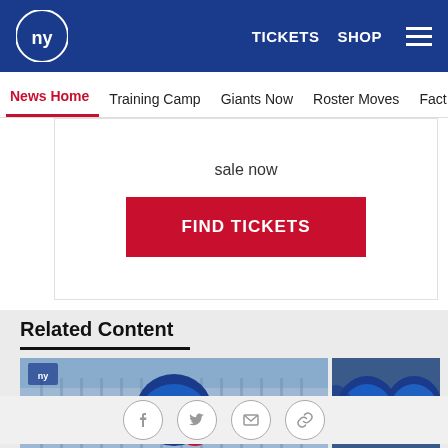NY Giants navigation header with TICKETS, SHOP, and menu
News Home | Training Camp | Giants Now | Roster Moves | Fact o...
sale now
FIND TICKETS
Related Content
[Figure (photo): NY Giants player wearing blue helmet with NY logo at training camp]
[Figure (photo): NY Giants players in blue helmets close up]